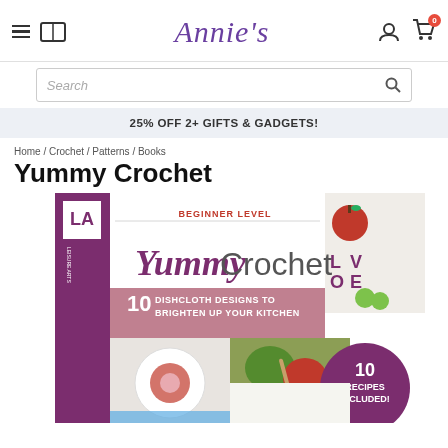Annie's
Search
25% OFF 2+ GIFTS & GADGETS!
Home / Crochet / Patterns / Books
Yummy Crochet
[Figure (photo): Book cover for 'Yummy Crochet' by Leisure Arts. Shows crochet dishcloths with food-themed designs, yarn balls, and text: BEGINNER LEVEL, 10 DISHCLOTH DESIGNS TO BRIGHTEN UP YOUR KITCHEN, 10 RECIPES INCLUDED!]